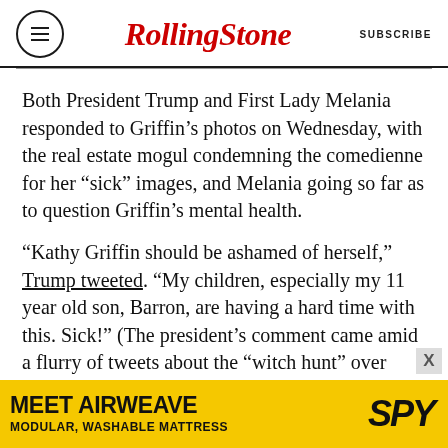Rolling Stone | SUBSCRIBE
Both President Trump and First Lady Melania responded to Griffin’s photos on Wednesday, with the real estate mogul condemning the comedienne for her “sick” images, and Melania going so far as to question Griffin’s mental health.
“Kathy Griffin should be ashamed of herself,” Trump tweeted. “My children, especially my 11 year old son, Barron, are having a hard time with this. Sick!” (The president’s comment came amid a flurry of tweets about the “witch hunt” over James Comey’s firing, the GOP’s disastrous new health care bill and his reported decision to pull
[Figure (other): Advertisement banner for Airweave: MEET AIRWEAVE / MODULAR, WASHABLE MATTRESS with SPY logo on yellow background]